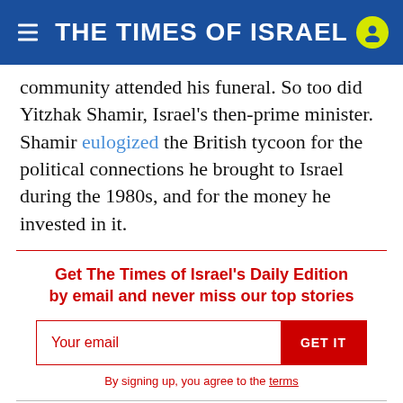THE TIMES OF ISRAEL
community attended his funeral. So too did Yitzhak Shamir, Israel’s then-prime minister. Shamir eulogized the British tycoon for the political connections he brought to Israel during the 1980s, and for the money he invested in it.
Get The Times of Israel’s Daily Edition by email and never miss our top stories
By signing up, you agree to the terms
Two years ago, while awaiting trial on sex trafficking